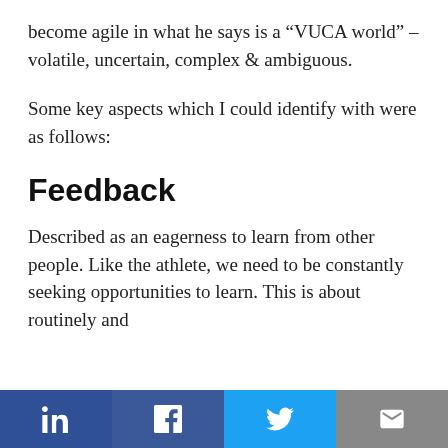become agile in what he says is a “VUCA world” – volatile, uncertain, complex & ambiguous.
Some key aspects which I could identify with were as follows:
Feedback
Described as an eagerness to learn from other people. Like the athlete, we need to be constantly seeking opportunities to learn. This is about routinely and
LinkedIn | Facebook | Twitter | Email